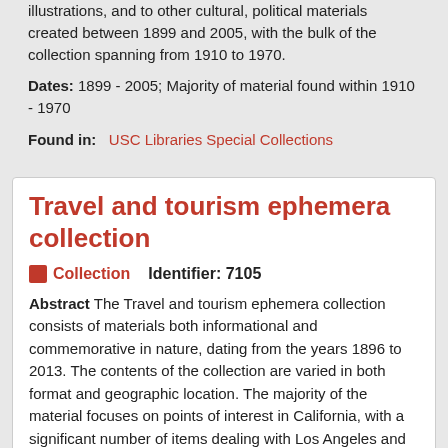illustrations, and to other cultural, political materials created between 1899 and 2005, with the bulk of the collection spanning from 1910 to 1970.
Dates: 1899 - 2005; Majority of material found within 1910 - 1970
Found in: USC Libraries Special Collections
Travel and tourism ephemera collection
Collection   Identifier: 7105
Abstract The Travel and tourism ephemera collection consists of materials both informational and commemorative in nature, dating from the years 1896 to 2013. The contents of the collection are varied in both format and geographic location. The majority of the material focuses on points of interest in California, with a significant number of items dealing with Los Angeles and the surrounding areas including information about tourist sites and souvenir booklets and items such as postcards....
Dates: 1896 - 2013